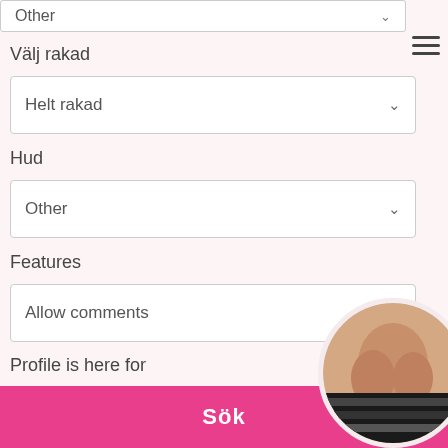Other
Välj rakad
Helt rakad
Hud
Other
Features
Allow comments
Profile is here for
Any
Sök
[Figure (photo): Circular avatar photo of a person, partially visible, with striped background]